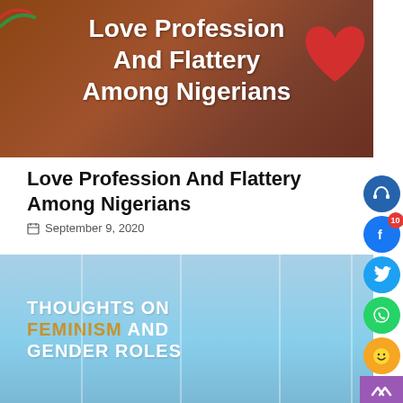[Figure (photo): Blog article thumbnail image with dark brown/skin-tone background, white bold text reading 'Love Profession And Flattery Among Nigerians', and a red heart graphic on the right side]
Love Profession And Flattery Among Nigerians
September 9, 2020
[Figure (photo): Blog article thumbnail with light blue painted wood plank background, white bold text 'THOUGHTS ON' and 'AND GENDER ROLES', with 'FEMINISM' in golden/tan color]